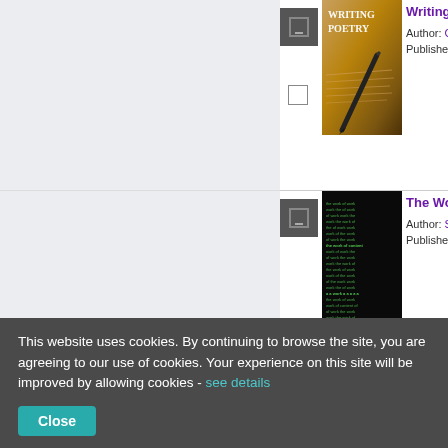[Figure (screenshot): Book listing: Writing Poetry with book cover image (red/gold cover with pen). Shows title, Author: Ca..., Published: fields. Below it, another listing: The Wor... book with dark text-covered book cover. Shows Author: Su..., Published:, Stock expe... in red.]
This website uses cookies. By continuing to browse the site, you are agreeing to our use of cookies. Your experience on this site will be improved by allowing cookies - see details
Close